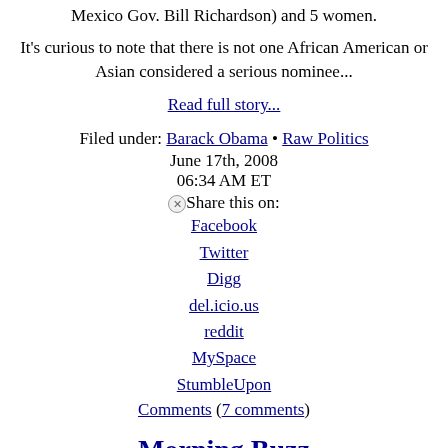Mexico Gov. Bill Richardson) and 5 women.
It's curious to note that there is not one African American or Asian considered a serious nominee...
Read full story...
Filed under: Barack Obama • Raw Politics
June 17th, 2008
06:34 AM ET
Share this on:
Facebook
Twitter
Digg
del.icio.us
reddit
MySpace
StumbleUpon
Comments (7 comments)
Morning Buzz
Morning folks...